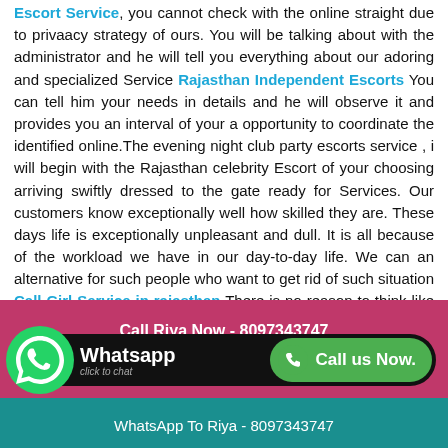Escort Service, you cannot check with the online straight due to privaacy strategy of ours. You will be talking about with the administrator and he will tell you everything about our adoring and specialized Service Rajasthan Independent Escorts You can tell him your needs in details and he will observe it and provides you an interval of your a opportunity to coordinate the identified online.The evening night club party escorts service , i will begin with the Rajasthan celebrity Escort of your choosing arriving swiftly dressed to the gate ready for Services. Our customers know exceptionally well how skilled they are. These days life is exceptionally unpleasant and dull. It is all because of the workload we have in our day-to-day life. We can an alternative for such people who want to get rid of such situation Call Girl Service in rajasthan There is no reason to think like this when you are with the hot curvy Independent Rajasthan Call Girls who can make each minute loaded with joy and pleasure In the event that there is a sudden change in the plan you can let
Call Riya Now - 8097343747
Whatsapp click to chat
Call us Now.
WhatsApp To Riya - 8097343747